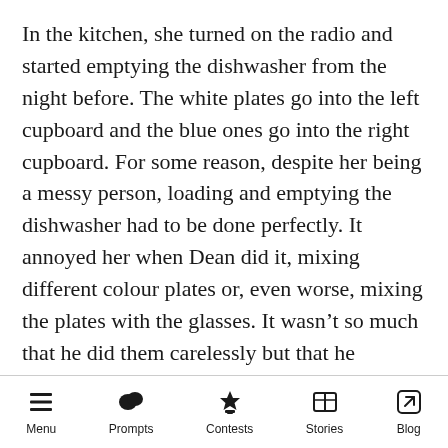In the kitchen, she turned on the radio and started emptying the dishwasher from the night before. The white plates go into the left cupboard and the blue ones go into the right cupboard. For some reason, despite her being a messy person, loading and emptying the dishwasher had to be done perfectly. It annoyed her when Dean did it, mixing different colour plates or, even worse, mixing the plates with the glasses. It wasn't so much that he did them carelessly but that he somehow doesn't care to even humour her minor OCD moments.

Her favourite song came on and she started
Menu | Prompts | Contests | Stories | Blog